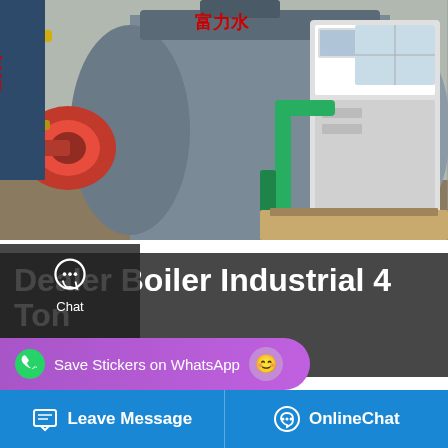[Figure (photo): Industrial gas/steam boilers in a factory setting. Left image shows a large horizontal cylindrical boiler with a red burner attachment and yellow piping. Right image shows a white electrical control cabinet next to a boiler with green piping.]
Dealer Boiler Industrial 4 Ton Belarus
6 ton Boiler Plant Industrial Best Selling Belarus. Agent 4 Ton Gas Boiler Plant Industrial Belarus 4 ton steam boilers for sale price. 1820 products Widely used 10 ton gas steam boiler cost sale. $5000.00-$86000.00/ Set. 1.0 Sets(Min. Order).READ MORE. ibr boiler new 2.5 ton capacity instalation require. 6 ton on coal fired boiler in russia. 3 …
[Figure (screenshot): Side panel overlay with Chat (speech bubble icon), Email (envelope icon), and Contact (chat bubble icon) buttons on dark background]
[Figure (screenshot): WhatsApp sticker save prompt in purple/magenta with phone and emoji icons]
[Figure (screenshot): Bottom navigation bar in blue with Leave Message (message icon) and OnlineChat (headset icon) buttons]